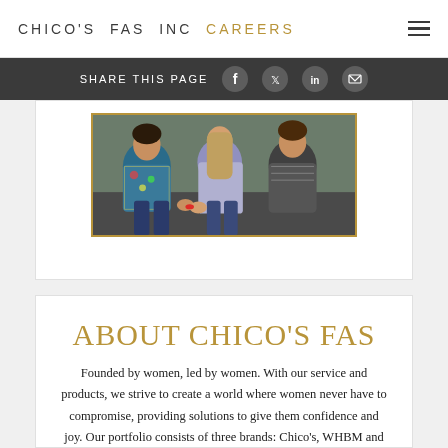CHICO'S FAS INC CAREERS
SHARE THIS PAGE
[Figure (photo): Photo of three women sitting together on a sofa, wearing colorful clothing]
ABOUT CHICO'S FAS
Founded by women, led by women. With our service and products, we strive to create a world where women never have to compromise, providing solutions to give them confidence and joy. Our portfolio consists of three brands: Chico's, WHBM and Soma—